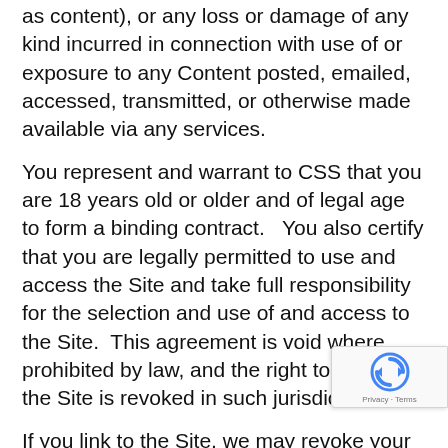as content), or any loss or damage of any kind incurred in connection with use of or exposure to any Content posted, emailed, accessed, transmitted, or otherwise made available via any services.
You represent and warrant to CSS that you are 18 years old or older and of legal age to form a binding contract.   You also certify that you are legally permitted to use and access the Site and take full responsibility for the selection and use of and access to the Site.  This agreement is void where prohibited by law, and the right to access the Site is revoked in such jurisdictions.
If you link to the Site, we may revoke your right to so link at any time.  We reserve the right to require prior written consent before